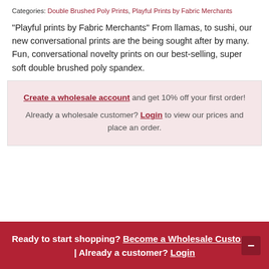Categories: Double Brushed Poly Prints, Playful Prints by Fabric Merchants
“Playful prints by Fabric Merchants” From llamas, to sushi, our new conversational prints are the being sought after by many. Fun, conversational novelty prints on our best-selling, super soft double brushed poly spandex.
Create a wholesale account and get 10% off your first order! Already a wholesale customer? Login to view our prices and place an order.
Ready to start shopping? Become a Wholesale Customer | Already a customer? Login